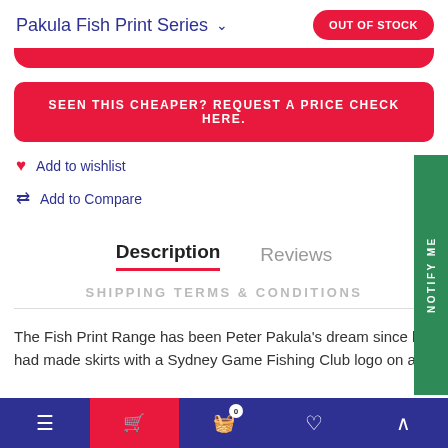Pakula Fish Print Series
OUT OF STOCK
SEEN THIS CHEAPER? REQUEST A PRICE CHECK HERE.
Add to wishlist
Add to Compare
Description   Reviews
SHIPPING TERMS & CONDITIONS
The Fish Print Range has been Peter Pakula's dream since he had made skirts with a Sydney Game Fishing Club logo on a
≡  🛒  🧺 0  ♡  ∧